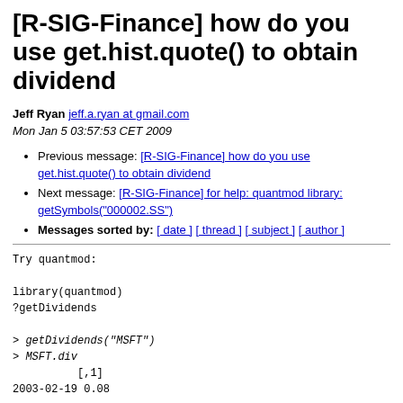[R-SIG-Finance] how do you use get.hist.quote() to obtain dividend
Jeff Ryan jeff.a.ryan at gmail.com
Mon Jan 5 03:57:53 CET 2009
Previous message: [R-SIG-Finance] how do you use get.hist.quote() to obtain dividend
Next message: [R-SIG-Finance] for help: quantmod library: getSymbols("000002.SS")
Messages sorted by: [ date ] [ thread ] [ subject ] [ author ]
Try quantmod:

library(quantmod)
?getDividends

> getDividends("MSFT")
> MSFT.div
          [,1]
2003-02-19 0.08